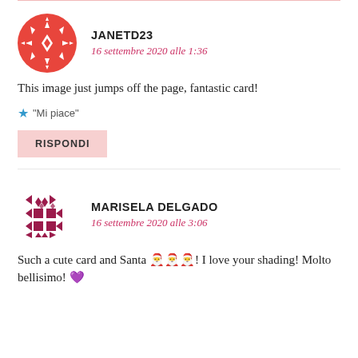[Figure (illustration): Red decorative snowflake/geometric pattern avatar for user JANETD23]
JANETD23
16 settembre 2020 alle 1:36
This image just jumps off the page, fantastic card!
★ "Mi piace"
RISPONDI
[Figure (illustration): Dark red/maroon geometric pattern avatar for user MARISELA DELGADO]
MARISELA DELGADO
16 settembre 2020 alle 3:06
Such a cute card and Santa 🎅🎅🎅! I love your shading! Molto bellisimo! 💜